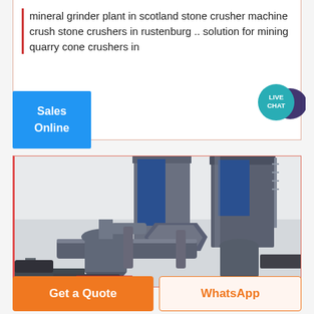mineral grinder plant in scotland stone crusher machine crush stone crushers in rustenburg .. solution for mining quarry cone crushers in
[Figure (screenshot): Blue 'Sales Online' button on left, teal 'LIVE CHAT' speech bubble badge on right]
[Figure (photo): Industrial mineral grinder/crusher plant equipment with large silos, pipes, and cyclone dust collectors photographed outdoors]
Get a Quote
WhatsApp